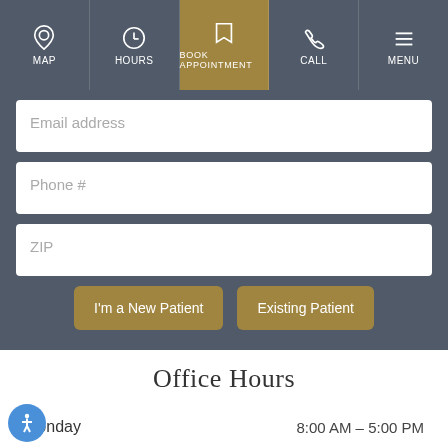Navigation bar: MAP | HOURS | BOOK APPOINTMENT | CALL | MENU
Email address
Phone #
ZIP
I'm a New Patient
Existing Patient
Office Hours
Monday    8:00 AM – 5:00 PM
Tuesday    8:00 AM – 5:00 PM
Wednesday    8:00 AM – 5:00 PM